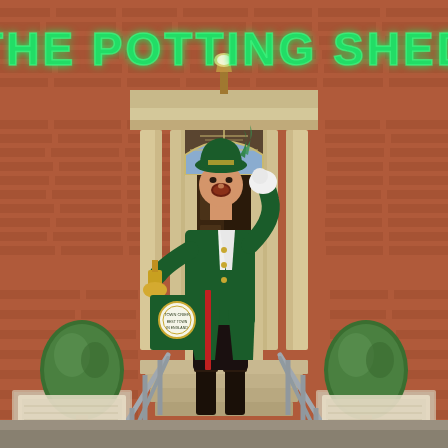[Figure (photo): A town crier dressed in green Victorian-style costume with tricorn hat, holding a bell and an official document/sign, standing on stone steps in front of a classical Georgian-style entrance of a red brick building. Above the building, large illuminated green neon letters spell out 'THE POTTING SHED'. Topiary bushes flank the steps. Metal handrails on either side. The town crier is calling out with one gloved hand raised to his mouth.]